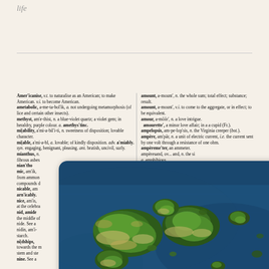life
Amer'icanise, v.t. to naturalise as an American; to make American. v.i. to become American.
ametabolic, a-me-ta-bol'ik, a. not undergoing metamorphosis (of lice and certain other insects).
methyst, am'e-thist, n. a blue-violet quartz; a violet gem; in heraldry, purple colour. a. amethys'tinc.
mi|ability, a'mi-a-bil'i-ti, n. sweetness of disposition; lovable character.
mi|able, a'mi-a-bl, a. lovable; of kindly disposition. adv. a'miably. syn. engaging, benignant, pleasing. ant. brutish, uncivil, surly.
mianthus, n. fibrous asbes...
nian'tho... mic, am'ik, from ammon... compounds d...
nicable, an... arn'icably.
nice, am'is, at the celebra...
nid, amide... the middle of... nide. See a... nidin, am'i-... starch.
ni|dships, towards the m... stem and ste...
nine. See a...
nir. See an...
niss, a-mis'...nity, am-i-ti, n. friendship; harmony; ovs. syn. goodwill, peace.
ameter, am'e-ter, n. an instrument or measuring electric current.
amount, a-mount', n. the whole sum; total effect; substance; result.
amount, a-mount', v.i. to come to the aggregate, or in effect; to be equivalent.
amour, a-moor', n. a love intrigue.
amourette', a minor love affair; in a a cupid (Fr.).
ampelopsis, am-pe-lop'sis, n. the Virginia creeper (bot.).
ampere, am'par, n. a unit of electric current, i.e. the current sent by one volt through a resistance of one ohm.
ampere me'ter, an ammeter.
amperesand, ov... and, n. the si...
a. amphibious... alighting on... solid surface... imal.
a. able to li... er. n.pl. ar... biol'ogy, t... eating of t... log'ical.
hornblende.
o-ii, n. a s... interpretation... log'ical, ar... lb'oly, a fulla...
n. a metric... which the fi... iddle long, as...
-o-ni, n. a c... federation of states in ancient Greece... mutual protection and benefit. a. A... phictyon'ic.
[Figure (photo): Aerial photograph of a group of small green islands surrounded by deep blue ocean water, viewed from above. The islands appear lush with vegetation. The photo is overlaid on a dictionary page and has rounded corners.]